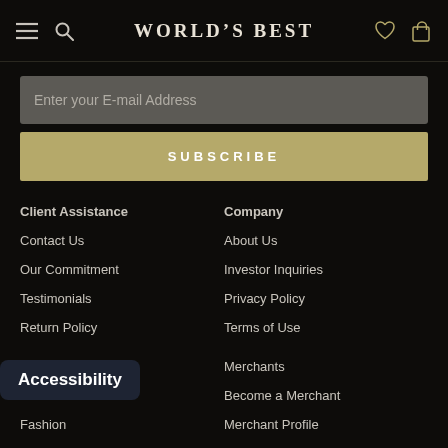World's Best
Enter your E-mail Address
SUBSCRIBE
Client Assistance
Company
Contact Us
About Us
Our Commitment
Investor Inquiries
Testimonials
Privacy Policy
Return Policy
Terms of Use
Accessibility
Merchants
Become a Merchant
Fashion
Merchant Profile